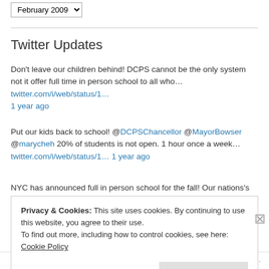February 2009
Twitter Updates
Don't leave our children behind! DCPS cannot be the only system not it offer full time in person school to all who… twitter.com/i/web/status/1… 1 year ago
Put our kids back to school! @DCPSChancellor @MayorBowser @marycheh 20% of students is not open. 1 hour once a week… twitter.com/i/web/status/1… 1 year ago
NYC has announced full in person school for the fall! Our nations's
Privacy & Cookies: This site uses cookies. By continuing to use this website, you agree to their use.
To find out more, including how to control cookies, see here: Cookie Policy
Close and accept
Follow